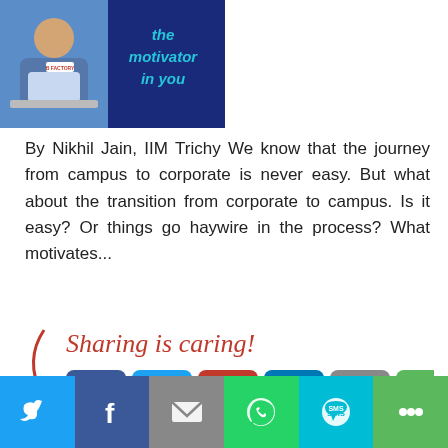[Figure (photo): Blog banner with a person at a laptop and text 'the motivator in you' in teal on dark blue background]
By Nikhil Jain, IIM Trichy We know that the journey from campus to corporate is never easy. But what about the transition from corporate to campus. Is it easy? Or things go haywire in the process? What motivates...
[Figure (infographic): Sharing is caring! with social share buttons for Facebook, Twitter, Pinterest, LinkedIn, Email, and More]
Read More »
[Figure (infographic): Pagination bar: Previous, 1, 2 (active/orange), 3, ..., 15, Next]
[Figure (infographic): Bottom social share bar with Twitter, Facebook, Email, WhatsApp, SMS, More buttons]